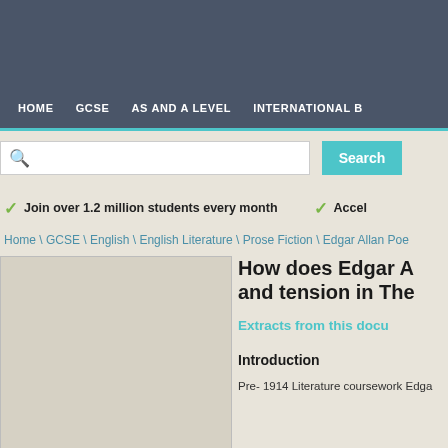HOME  GCSE  AS AND A LEVEL  INTERNATIONAL B
[Figure (screenshot): Search bar with magnifying glass icon and Search button]
✓ Join over 1.2 million students every month   ✓ Accel
Home \ GCSE \ English \ English Literature \ Prose Fiction \ Edgar Allan Poe
[Figure (photo): Placeholder image area for document thumbnail]
How does Edgar A and tension in The
Extracts from this docu
Introduction
Pre- 1914 Literature coursework Edga